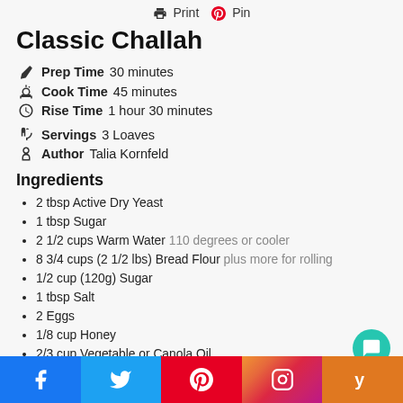Print  Pin
Classic Challah
Prep Time 30 minutes
Cook Time 45 minutes
Rise Time 1 hour 30 minutes
Servings 3 Loaves
Author Talia Kornfeld
Ingredients
2 tbsp Active Dry Yeast
1 tbsp Sugar
2 1/2 cups Warm Water 110 degrees or cooler
8 3/4 cups (2 1/2 lbs) Bread Flour plus more for rolling
1/2 cup (120g) Sugar
1 tbsp Salt
2 Eggs
1/8 cup Honey
2/3 cup Vegetable or Canola Oil
Salt, Poppy Seeds, Sesame Seeds, Everything Seasoning OPTIONAL
Instructions